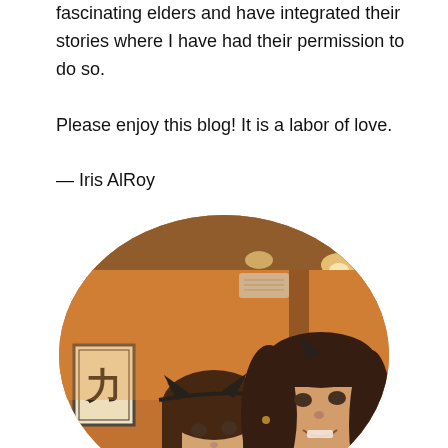fascinating elders and have integrated their stories where I have had their permission to do so.

Please enjoy this blog! It is a labor of love.

— Iris AlRoy
[Figure (photo): A circular cropped photo of two people — a young girl wearing cat ears headband and a woman with dark hair — taking a selfie inside what appears to be an Asian restaurant with warm orange lighting and Japanese wall art visible in the background.]